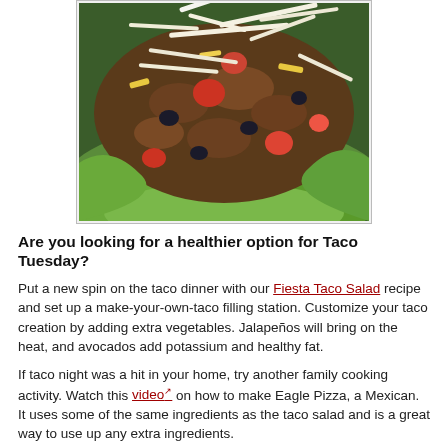[Figure (photo): Close-up photo of a fiesta taco salad with seasoned ground beef, shredded cheese, tomatoes, black beans, and lettuce leaves]
Are you looking for a healthier option for Taco Tuesday?
Put a new spin on the taco dinner with our Fiesta Taco Salad recipe and set up a make-your-own-taco filling station. Customize your taco creation by adding extra vegetables. Jalapeños will bring on the heat, and avocados add potassium and healthy fat.
If taco night was a hit in your home, try another family cooking activity. Watch this video on how to make Eagle Pizza, a Mexican. It uses some of the same ingredients as the taco salad and is a great way to use up any extra ingredients.